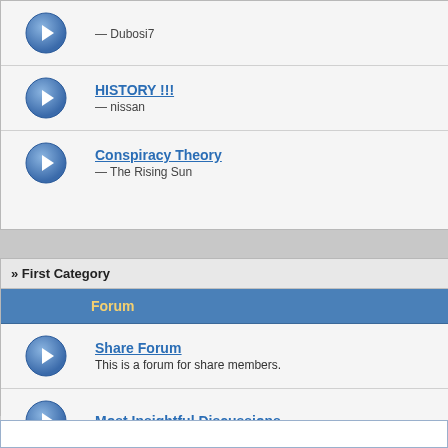— Dubosi7
HISTORY !!! — nissan
Conspiracy Theory — The Rising Sun
» First Category
| Forum |
| --- |
| Share Forum
This is a forum for share members. |
| Most Insightful Discussions |
| Current Hot Topics Discussion Forum
Dear all, we have created this separate forum to talk about the latest hot topics in discussion any hot topics related to capital market in this section. |
| Technical Analysis |